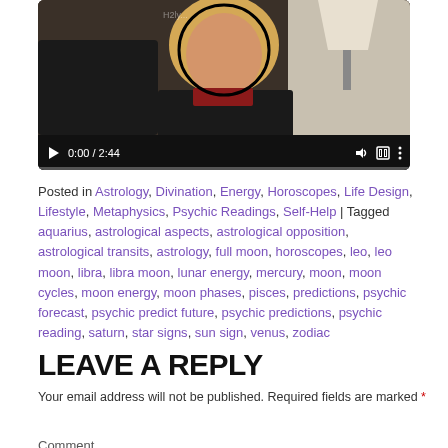[Figure (screenshot): Video player showing a blonde woman in a black outfit sitting in a leather chair with a lamp behind her. Video controls show 0:00 / 2:44 timestamp. A circular highlight/zoom effect is over her face area.]
Posted in Astrology, Divination, Energy, Horoscopes, Life Design, Lifestyle, Metaphysics, Psychic Readings, Self-Help | Tagged aquarius, astrological aspects, astrological opposition, astrological transits, astrology, full moon, horoscopes, leo, leo moon, libra, libra moon, lunar energy, mercury, moon, moon cycles, moon energy, moon phases, pisces, predictions, psychic forecast, psychic predict future, psychic predictions, psychic reading, saturn, star signs, sun sign, venus, zodiac
LEAVE A REPLY
Your email address will not be published. Required fields are marked *
Comment